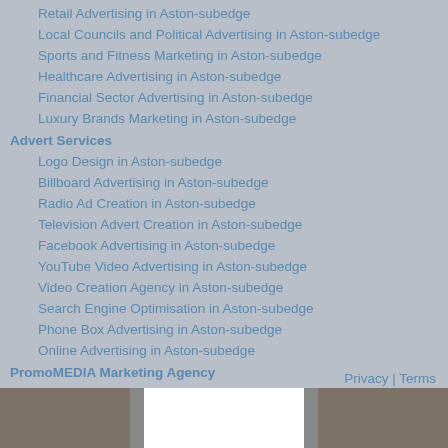Retail Advertising in Aston-subedge
Local Councils and Political Advertising in Aston-subedge
Sports and Fitness Marketing in Aston-subedge
Healthcare Advertising in Aston-subedge
Financial Sector Advertising in Aston-subedge
Luxury Brands Marketing in Aston-subedge
Advert Services
Logo Design in Aston-subedge
Billboard Advertising in Aston-subedge
Radio Ad Creation in Aston-subedge
Television Advert Creation in Aston-subedge
Facebook Advertising in Aston-subedge
YouTube Video Advertising in Aston-subedge
Video Creation Agency in Aston-subedge
Search Engine Optimisation in Aston-subedge
Phone Box Advertising in Aston-subedge
Online Advertising in Aston-subedge
PromoMEDIA Marketing Agency
Advertising Tips
Privacy | Terms
[Figure (photo): Bottom image showing a room interior with a white rectangle in the center, flanked by brownish-grey areas on left and right.]